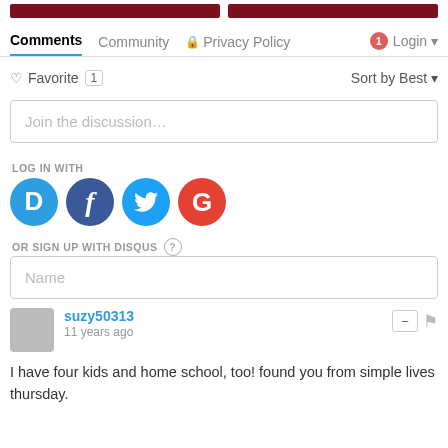[Figure (screenshot): Top dark red banner images (two side by side)]
Comments  Community  🔒 Privacy Policy  1 Login
♡ Favorite 1    Sort by Best ▾
Join the discussion...
LOG IN WITH
[Figure (other): Social login icons: Disqus (D), Facebook (f), Twitter (bird), Google (G)]
OR SIGN UP WITH DISQUS ?
Name
suzy50313
11 years ago
I have four kids and home school, too! found you from simple lives thursday.